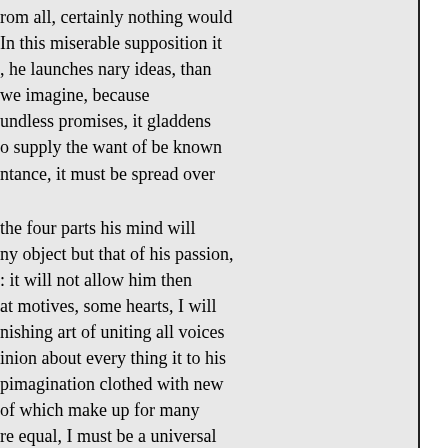rom all, certainly nothing would In this miserable supposition it , he launches nary ideas, than we imagine, because undless promises, it gladdens o supply the want of be known ntance, it must be spread over
the four parts his mind will ny object but that of his passion, : it will not allow him then at motives, some hearts, I will nishing art of uniting all voices inion about every thing it to his pimagination clothed with new of which make up for many re equal, I must be a universal ole world; and when I shall designs, I will seek var of the lds to door of your closets t, it will enter with you. Try to , and fields, and whole isciple of reason says, creatures